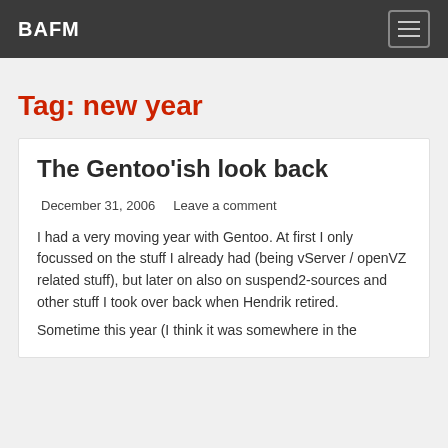BAFM
Tag: new year
The Gentoo'ish look back
December 31, 2006   Leave a comment
I had a very moving year with Gentoo. At first I only focussed on the stuff I already had (being vServer / openVZ related stuff), but later on also on suspend2-sources and other stuff I took over back when Hendrik retired.
Sometime this year (I think it was somewhere in the